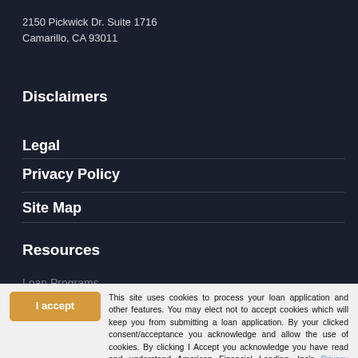2150 Pickwick Dr. Suite 1716
Camarillo, CA 93011
Disclaimers
Legal
Privacy Policy
Site Map
Resources
Loan Programs
Loan Officers
Mortgage Basic
Mortgage Calculators
Online Forms
FAQ
I accept
This site uses cookies to process your loan application and other features. You may elect not to accept cookies which will keep you from submitting a loan application. By your clicked consent/acceptance you acknowledge and allow the use of cookies. By clicking I Accept you acknowledge you have read and understand American Financial Lending, Inc's Privacy Policy.